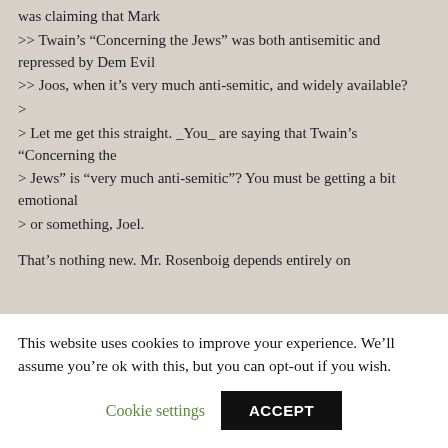was claiming that Mark
>> Twain's “Concerning the Jews” was both antisemitic and repressed by Dem Evil
>> Joos, when it’s very much anti-semitic, and widely available?
>
> Let me get this straight. _You_ are saying that Twain’s “Concerning the
> Jews” is “very much anti-semitic”? You must be getting a bit emotional
> or something, Joel.
That’s nothing new. Mr. Rosenboig depends entirely on
This website uses cookies to improve your experience. We’ll assume you’re ok with this, but you can opt-out if you wish.
Cookie settings | ACCEPT